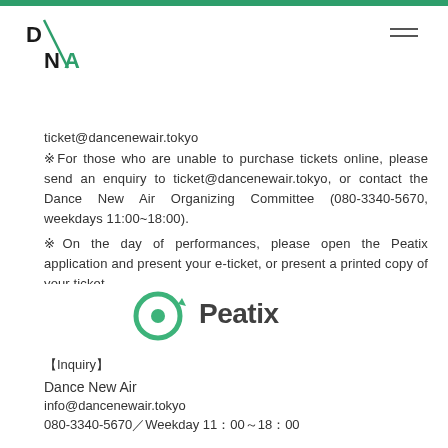DNA logo and navigation
ticket@dancenewair.tokyo
※For those who are unable to purchase tickets online, please send an enquiry to ticket@dancenewair.tokyo, or contact the Dance New Air Organizing Committee (080-3340-5670, weekdays 11:00~18:00).
※On the day of performances, please open the Peatix application and present your e-ticket, or present a printed copy of your ticket.
[Figure (logo): Peatix logo — green circular arrow icon with 'Peatix' text in dark gray]
【Inquiry】
Dance New Air
info@dancenewair.tokyo
080-3340-5670／Weekday 11：00～18：00